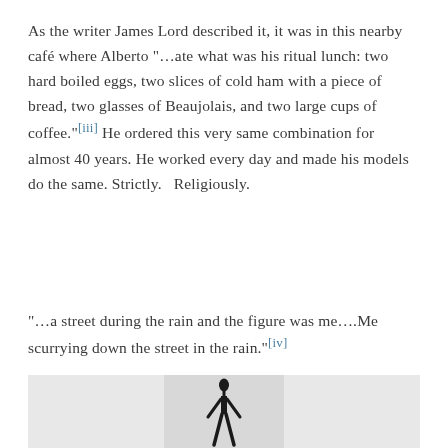As the writer James Lord described it, it was in this nearby café where Alberto "...ate what was his ritual lunch: two hard boiled eggs, two slices of cold ham with a piece of bread, two glasses of Beaujolais, and two large cups of coffee."[iii] He ordered this very same combination for almost 40 years. He worked every day and made his models do the same. Strictly.   Religiously.
"...a street during the rain and the figure was me....Me scurrying down the street in the rain."[iv]
[Figure (illustration): Black and white image showing a thin elongated standing human figure sculpture, characteristic of Giacometti's style, centered against a light grey background.]